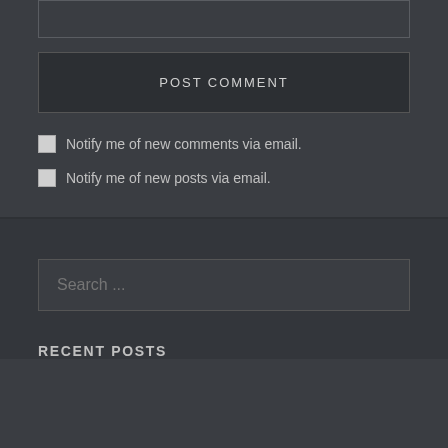[Figure (screenshot): Textarea input box (top portion visible)]
POST COMMENT
Notify me of new comments via email.
Notify me of new posts via email.
[Figure (screenshot): Search input box with placeholder text 'Search ...']
RECENT POSTS